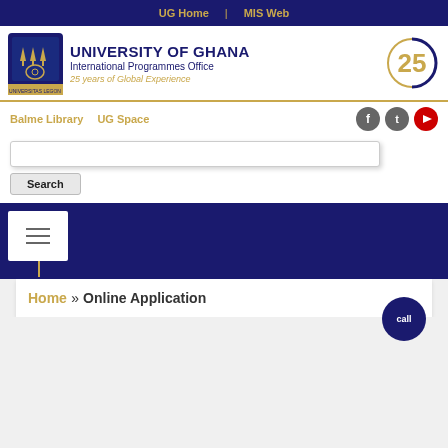UG Home | MIS Web
[Figure (logo): University of Ghana crest and International Programmes Office header with 25th anniversary badge]
Balme Library   UG Space
Search
[Figure (screenshot): Blue navigation bar with hamburger menu icon]
Home » Online Application
call